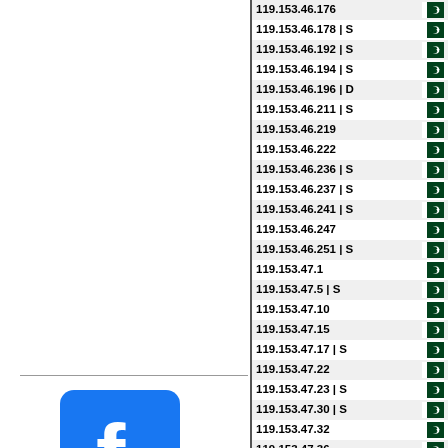| IP Address | Flag |
| --- | --- |
| 119.153.46.176 | PK |
| 119.153.46.178 | S | PK |
| 119.153.46.192 | S | PK |
| 119.153.46.194 | S | PK |
| 119.153.46.196 | D | PK |
| 119.153.46.211 | S | PK |
| 119.153.46.219 | PK |
| 119.153.46.222 | PK |
| 119.153.46.236 | S | PK |
| 119.153.46.237 | S | PK |
| 119.153.46.241 | S | PK |
| 119.153.46.247 | PK |
| 119.153.46.251 | S | PK |
| 119.153.47.1 | PK |
| 119.153.47.5 | S | PK |
| 119.153.47.10 | PK |
| 119.153.47.15 | PK |
| 119.153.47.17 | S | PK |
| 119.153.47.22 | PK |
| 119.153.47.23 | S | PK |
| 119.153.47.30 | S | PK |
| 119.153.47.32 | PK |
| 119.153.47.36 | PK |
| 119.153.47.55 | S | PK |
| 119.153.47.72 | C | PK |
| 119.153.47.79 | D | PK |
[Figure (logo): Facebook logo — white 'f' on blue rounded square background]